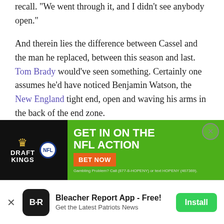recall. "We went through it, and I didn't see anybody open."
And therein lies the difference between Cassel and the man he replaced, between this season and last. Tom Brady would've seen something. Certainly one assumes he'd have noticed Benjamin Watson, the New England tight end, open and waving his arms in the back of the end zone.
But Brady, of course, had knee surgery last week. In his stead, Cassell tried to run. "I was hoping to make a play with my legs," he said. "It didn't happen."
[Figure (screenshot): DraftKings NFL advertisement banner: 'GET IN ON THE NFL ACTION' with BET NOW button on green background, DraftKings crown logo and NFL shield on dark background left side]
Bleacher Report App - Free! Get the Latest Patriots News